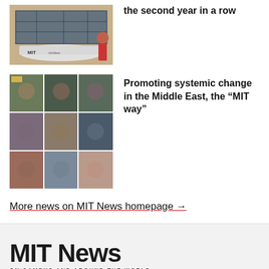[Figure (photo): Solar car with MIT branding, person kneeling beside it, visible solar panels on top]
the second year in a row
[Figure (photo): Grid of video call participants in a Zoom-style meeting, 9 participants shown]
Promoting systemic change in the Middle East, the “MIT way”
More news on MIT News homepage →
MIT News
ON CAMPUS AND AROUND THE WORLD
This website is managed by the MIT News Office